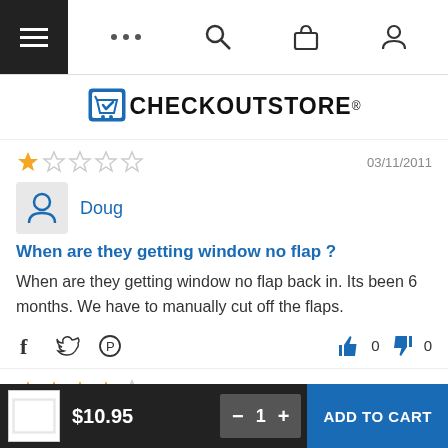CheckOutStore navigation bar
[Figure (logo): CheckOutStore logo with shopping cart icon and brand name]
1 star out of 5 — 03/11/2011
Doug
When are they getting window no flap ?
When are they getting window no flap back in. Its been 6 months. We have to manually cut off the flaps.
Social share icons: Facebook, Twitter, Pinterest. Votes: 0 thumbs up, 0 thumbs down
4 stars out of 5 — 10/04/2010
Office W.
$10.95 — Quantity: 1 — ADD TO CART